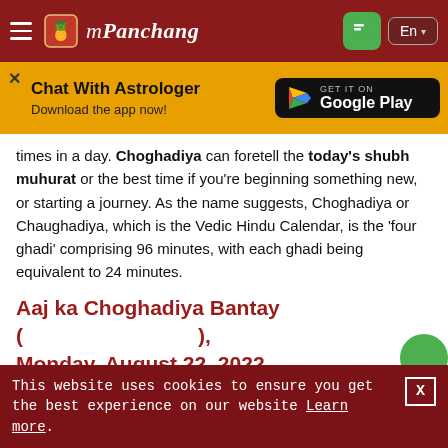mPanchang — En
[Figure (infographic): mPanchang website banner with Chat With Astrologer promotion and Google Play download button]
times in a day. Choghadiya can foretell the today's shubh muhurat or the best time if you're beginning something new, or starting a journey. As the name suggests, Choghadiya or Chaughadiya, which is the Vedic Hindu Calendar, is the 'four ghadi' comprising 96 minutes, with each ghadi being equivalent to 24 minutes.
Aaj ka Choghadiya Bantay (                    ), Monday, August 22, 2022
If you want to know about din ka Choghadiya, Today Choghadiya table is constructed to check aaj ka shubh
This website uses cookies to ensure you get the best experience on our website Learn more.